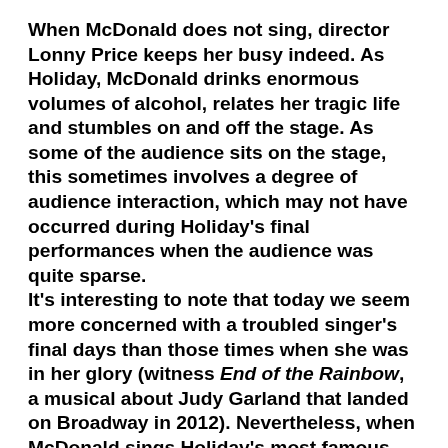When McDonald does not sing, director Lonny Price keeps her busy indeed. As Holiday, McDonald drinks enormous volumes of alcohol, relates her tragic life and stumbles on and off the stage. As some of the audience sits on the stage, this sometimes involves a degree of audience interaction, which may not have occurred during Holiday's final performances when the audience was quite sparse.
It's interesting to note that today we seem more concerned with a troubled singer's final days than those times when she was in her glory (witness End of the Rainbow, a musical about Judy Garland that landed on Broadway in 2012). Nevertheless, when McDonald sings Holiday's most famous songs, "God Bless the Child" and "Strange Fruit," one can feel the